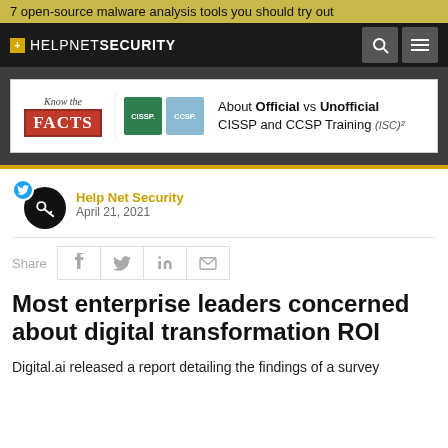7 open-source malware analysis tools you should try out
[Figure (logo): Help Net Security navigation bar with logo, search and menu icons]
[Figure (infographic): Advertisement banner: Know the FACTS about Official vs Unofficial CISSP and CCSP Training by (ISC)²]
Help Net Security
April 21, 2021
Share
Most enterprise leaders concerned about digital transformation ROI
Digital.ai released a report detailing the findings of a survey